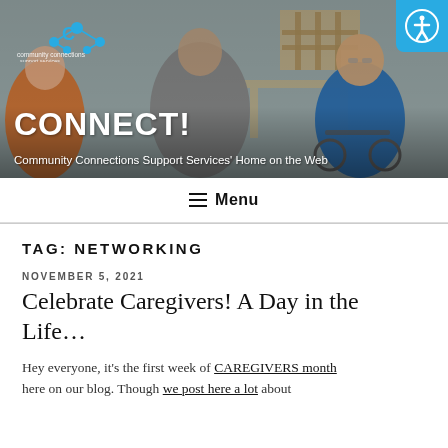[Figure (photo): Header photo showing a man in a wheelchair smiling, with a warehouse/workshop background and Community Connections Support Services logo overlay]
CONNECT!
Community Connections Support Services' Home on the Web
Menu
TAG: NETWORKING
NOVEMBER 5, 2021
Celebrate Caregivers! A Day in the Life…
Hey everyone, it's the first week of CAREGIVERS month here on our blog. Though we post here a lot about